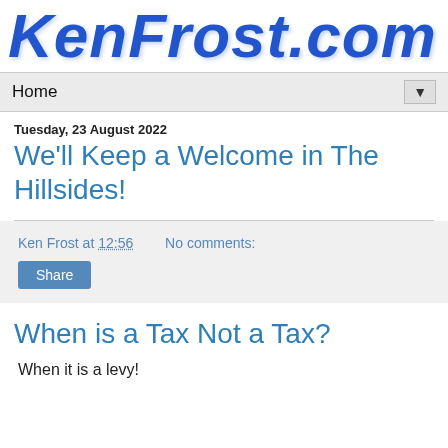[Figure (logo): KenFrost.com logo in blue cursive/italic handwritten style font on white background]
Home ▼
Tuesday, 23 August 2022
We'll Keep a Welcome in The Hillsides!
Ken Frost at 12:56    No comments:
Share
When is a Tax Not a Tax?
When it is a levy!